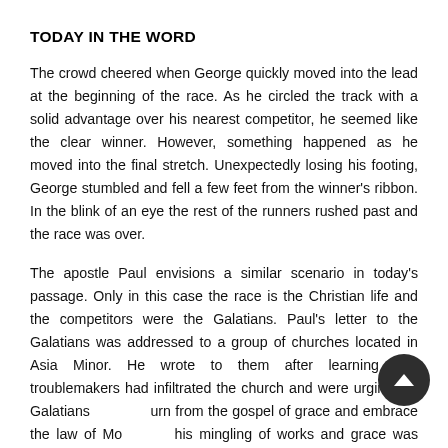TODAY IN THE WORD
The crowd cheered when George quickly moved into the lead at the beginning of the race. As he circled the track with a solid advantage over his nearest competitor, he seemed like the clear winner. However, something happened as he moved into the final stretch. Unexpectedly losing his footing, George stumbled and fell a few feet from the winner's ribbon. In the blink of an eye the rest of the runners rushed past and the race was over.
The apostle Paul envisions a similar scenario in today's passage. Only in this case the race is the Christian life and the competitors were the Galatians. Paul's letter to the Galatians was addressed to a group of churches located in Asia Minor. He wrote to them after learning that troublemakers had infiltrated the church and were urging the Galatians to turn from the gospel of grace and embrace the law of Moses. This mingling of works and grace was labeled by Paul as a "different gospel" and condemned (Gal. 1:6-7).